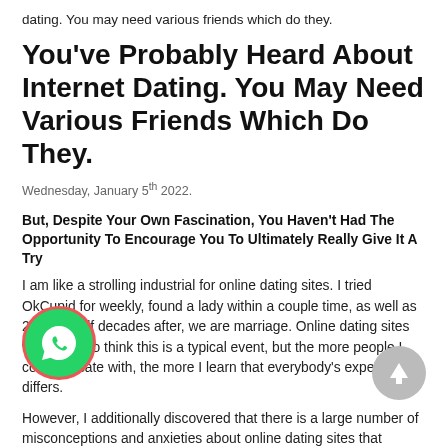dating. You may need various friends which do they.
You've Probably Heard About Internet Dating. You May Need Various Friends Which Do They.
Wednesday, January 5th 2022.
But, Despite Your Own Fascination, You Haven't Had The Opportunity To Encourage You To Ultimately Really Give It A Try
I am like a strolling industrial for online dating sites. I tried OkCupid for weekly, found a lady within a couple time, as well as 2 and a half decades after, we are marriage. Online dating sites wants one to think this is a typical event, but the more people I communicate with, the more I learn that everybody's experiences differs.
However, I additionally discovered that there is a large number of misconceptions and anxieties about online dating sites that counter individuals from offering it a go. And, while i can not guarantee everybody's event is going to be as fantastic as my own, i really do thought it is really worth a try. Here are some inquiries we frequently have from people that
[Figure (illustration): WhatsApp phone icon in green circle with red border]
[Figure (illustration): Up arrow icon in grey circle]